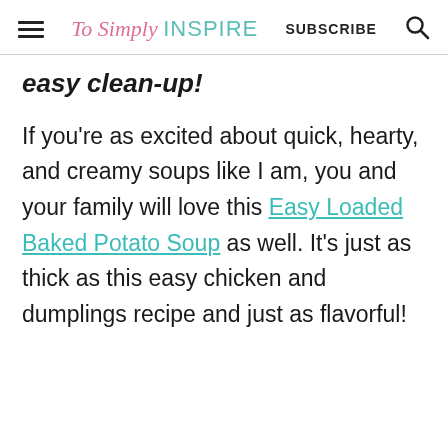To Simply INSPIRE   SUBSCRIBE
easy clean-up!
If you're as excited about quick, hearty, and creamy soups like I am, you and your family will love this Easy Loaded Baked Potato Soup as well. It's just as thick as this easy chicken and dumplings recipe and just as flavorful!